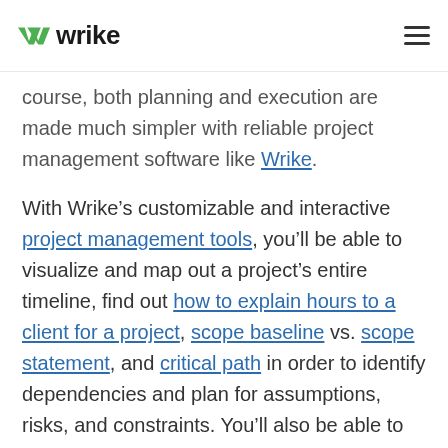wrike
course, both planning and execution are made much simpler with reliable project management software like Wrike.
With Wrike’s customizable and interactive project management tools, you’ll be able to visualize and map out a project’s entire timeline, find out how to explain hours to a client for a project, scope baseline vs. scope statement, and critical path in order to identify dependencies and plan for assumptions, risks, and constraints. You’ll also be able to manage your team’s